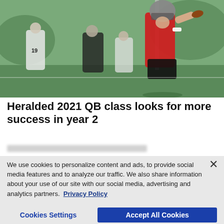[Figure (photo): Football player in red jersey throwing a pass during practice, with teammates in white jerseys in the background on a grass field]
Heralded 2021 QB class looks for more success in year 2
We use cookies to personalize content and ads, to provide social media features and to analyze our traffic. We also share information about your use of our site with our social media, advertising and analytics partners.  Privacy Policy
Cookies Settings   Accept All Cookies